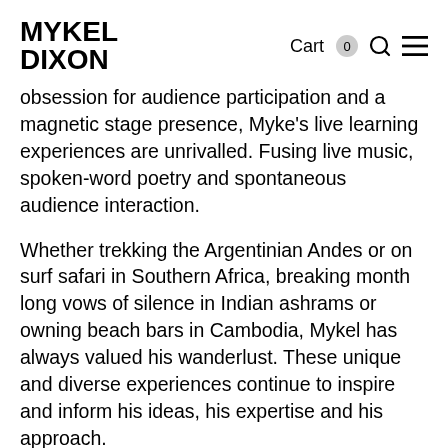MYKEL DIXON | Cart 0
obsession for audience participation and a magnetic stage presence, Myke's live learning experiences are unrivalled. Fusing live music, spoken-word poetry and spontaneous audience interaction.
Whether trekking the Argentinian Andes or on surf safari in Southern Africa, breaking month long vows of silence in Indian ashrams or owning beach bars in Cambodia, Mykel has always valued his wanderlust. These unique and diverse experiences continue to inspire and inform his ideas, his expertise and his approach.
Just like that time you were upgraded to first class, once you've experienced a Mykel Dixon anything, it's hard to go back to coach.